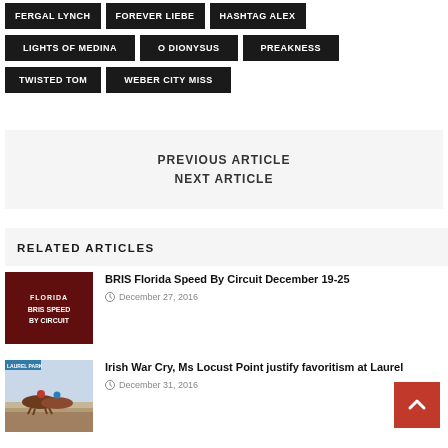FERGAL LYNCH
FOREVER LIEBE
HASHTAG ALEX
LIGHTS OF MEDINA
O DIONYSUS
PREAKNESS
TWISTED TOM
WEBER CITY MISS
PREVIOUS ARTICLE
NEXT ARTICLE
RELATED ARTICLES
[Figure (photo): Thumbnail image for BRIS Florida Speed By Circuit article, dark red toned graphic with text BRIS SPEED BY CIRCUIT and FLORIDA]
BRIS Florida Speed By Circuit December 19-25
December 27, 2016
[Figure (photo): Thumbnail photo of horse racing at Laurel, horses racing on track]
Irish War Cry, Ms Locust Point justify favoritism at Laurel
December 31, 2016